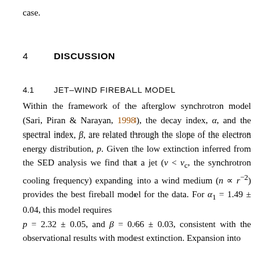case.
4    DISCUSSION
4.1    JET–WIND FIREBALL MODEL
Within the framework of the afterglow synchrotron model (Sari, Piran & Narayan, 1998), the decay index, α, and the spectral index, β, are related through the slope of the electron energy distribution, p. Given the low extinction inferred from the SED analysis we find that a jet (ν < νc, the synchrotron cooling frequency) expanding into a wind medium (n ∝ r⁻²) provides the best fireball model for the data. For α₁ = 1.49 ± 0.04, this model requires p = 2.32 ± 0.05, and β = 0.66 ± 0.03, consistent with the observational results with modest extinction. Expansion into